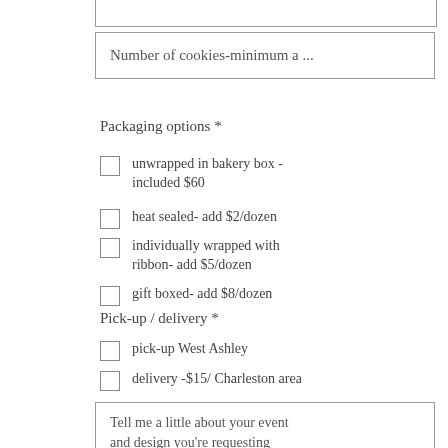(input box - top partial)
Number of cookies-minimum a ...
Packaging options *
unwrapped in bakery box - included $60
heat sealed- add $2/dozen
individually wrapped with ribbon- add $5/dozen
gift boxed- add $8/dozen
Pick-up / delivery *
pick-up West Ashley
delivery -$15/ Charleston area
Tell me a little about your event and design you're requesting